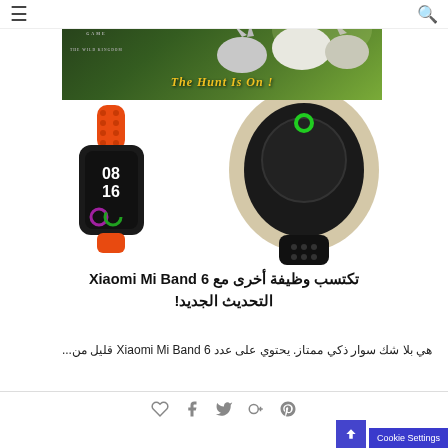[Figure (screenshot): Navigation bar with hamburger menu icon on left and search icon on right]
[Figure (photo): Wolf Game advertisement banner with wolves in a forest, text 'THE HUNT IS ON!' and Wolf Game logo]
[Figure (photo): Xiaomi Mi Band 6 smartband product photo showing two models - one with red band showing 08:16 time, and one with black band]
تكتسب وظيفة أخرى مع Xiaomi Mi Band 6 التحديث الجديد!
هي بلا شك سوار ذكي ممتاز. يحتوي على عدد Xiaomi Mi Band 6 قليل من...